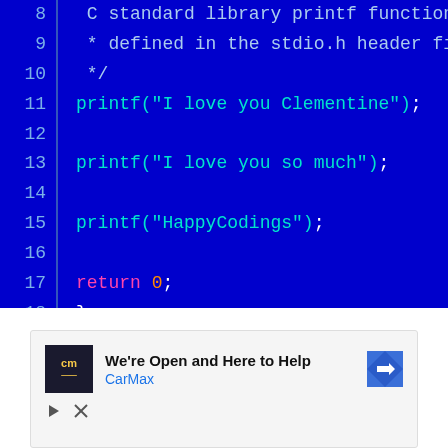[Figure (screenshot): Code editor screenshot showing C code lines 8-18 on a dark blue background. Lines 8-10 show a comment block, lines 11-15 show printf statements with strings, line 17 shows 'return 0;', line 18 shows closing brace.]
[Figure (other): Advertisement banner for CarMax: 'We're Open and Here to Help' with CarMax logo and navigation arrow icon.]